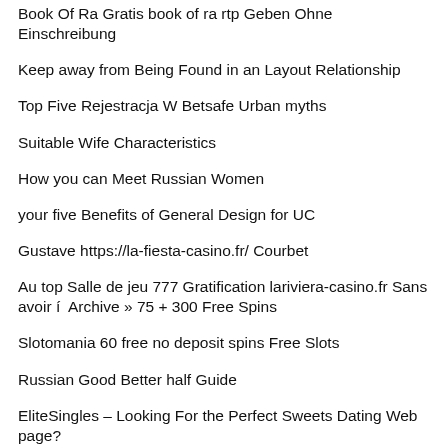Book Of Ra Gratis book of ra rtp Geben Ohne Einschreibung
Keep away from Being Found in an Layout Relationship
Top Five Rejestracja W Betsafe Urban myths
Suitable Wife Characteristics
How you can Meet Russian Women
your five Benefits of General Design for UC
Gustave https://la-fiesta-casino.fr/ Courbet
Au top Salle de jeu 777 Gratification lariviera-casino.fr Sans avoir í  Archive » 75 + 300 Free Spins
Slotomania 60 free no deposit spins Free Slots
Russian Good Better half Guide
EliteSingles – Looking For the Perfect Sweets Dating Web page?